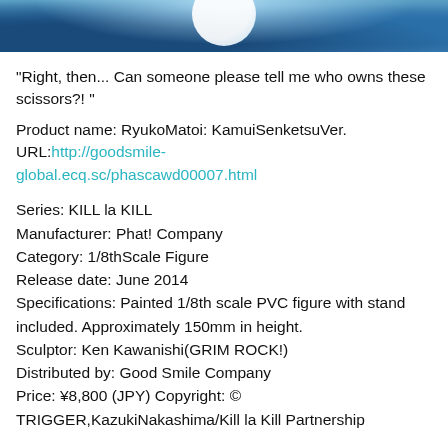[Figure (photo): Top portion of product image showing blue water-like textured background with a partial white circular element (figure base or figure detail) visible at top center.]
"Right, then... Can someone please tell me who owns these scissors?! "
Product name: RyukoMatoi: KamuiSenketsuVer.
URL:http://goodsmile-global.ecq.sc/phascawd00007.html
Series: KILL la KILL
Manufacturer: Phat! Company
Category: 1/8thScale Figure
Release date: June 2014
Specifications: Painted 1/8th scale PVC figure with stand included. Approximately 150mm in height.
Sculptor: Ken Kawanishi(GRIM ROCK!)
Distributed by: Good Smile Company
Price: ¥8,800 (JPY) Copyright: © TRIGGER,KazukiNakashima/Kill la Kill Partnership